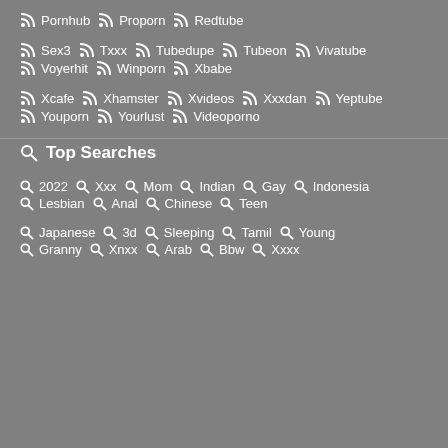Pornhub  Proporn  Redtube
Sex3  Txxx  Tubedupe  Tubeon  Vivatube
Voyerhit  Winporn  Xbabe
Xcafe  Xhamster  Xvideos  Xxxdan  Yeptube
Youporn  Yourlust  Videoporno
Top Searches
2022  Xxx  Mom  Indian  Gay  Indonesia
Lesbian  Anal  Chinese  Teen
Japanese  3d  Sleeping  Tamil  Young
Granny  Xnxx  Arab  Bbw  Xxxx